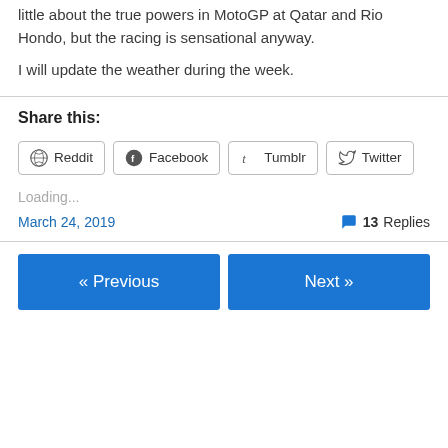little about the true powers in MotoGP at Qatar and Rio Hondo, but the racing is sensational anyway.
I will update the weather during the week.
Share this:
Reddit  Facebook  Tumblr  Twitter
Loading...
March 24, 2019   13 Replies
« Previous   Next »